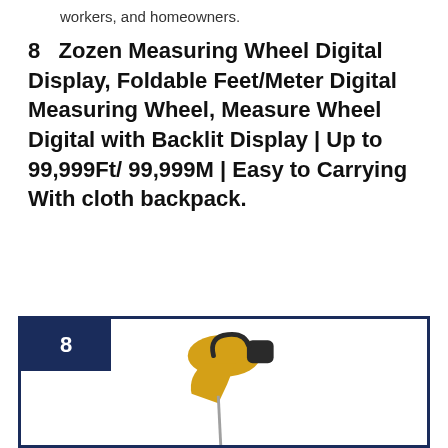workers, and homeowners.
8   Zozen Measuring Wheel Digital Display, Foldable Feet/Meter Digital Measuring Wheel, Measure Wheel Digital with Backlit Display | Up to 99,999Ft/ 99,999M | Easy to Carrying With cloth backpack.
[Figure (photo): Product listing card with dark navy border and a number '8' badge in the top-left corner. Inside the card is a photo of a Zozen measuring wheel — a device with a yellow and black handle at top and a long thin rod extending downward, shown on a white background.]